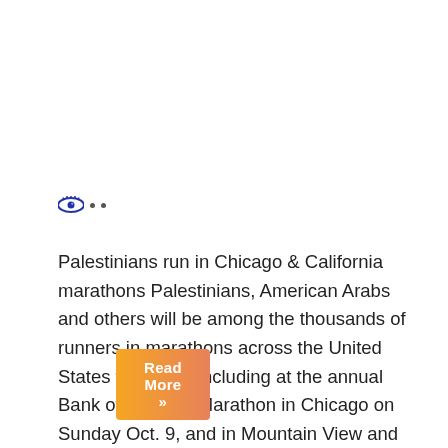[Figure (illustration): Eye icon with two dots beside it, resembling a view/read indicator]
Palestinians run in Chicago & California marathons Palestinians, American Arabs and others will be among the thousands of runners in marathons across the United States this week including at the annual Bank of America Marathon in Chicago on Sunday Oct. 9, and in Mountain View and Cupertino in California on Thursday, October 13 and San Francisco,...
Read More »